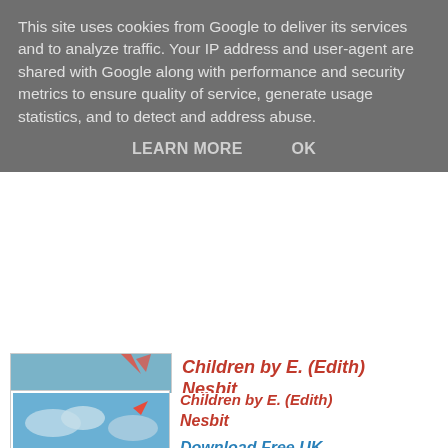This site uses cookies from Google to deliver its services and to analyze traffic. Your IP address and user-agent are shared with Google along with performance and security metrics to ensure quality of service, generate usage statistics, and to detect and address abuse.
LEARN MORE    OK
[Figure (illustration): Book cover of 'The Railway Children' - kindle edition, showing children and a steam train in a colorful illustrated scene]
Children by E. (Edith) Nesbit
Download Free UK
Download Free US
Roberta 'Bobbie', Peter, and Phyllis live in the suburbs with their mother and father, in some comfort. However, their father mysteriously disappears and the rest of the family are forced to move into the country, where they live in straightened circumstances. As the children grow accustomed to their new surroundings they start to gradually make friends, helping people and getting into all types of